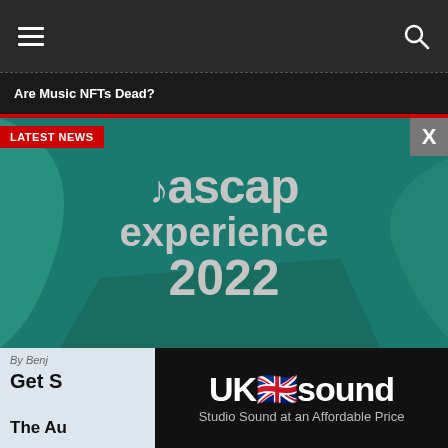Navigation bar with hamburger menu and search icon
Are Music NFTs Dead?
[Figure (screenshot): ASCAP Experience 2022 promotional banner with teal background, decorative shapes, music note and bold white text reading 'ascap experience 2022']
LATEST NEWS
By Benj
Get S
The Au
[Figure (advertisement): UK Sound advertisement with black background, bold white logo 'UKsound' and tagline 'Studio Sound at an Affordable Price']